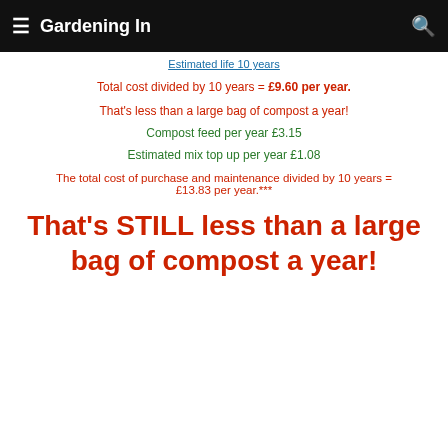Gardening In
Estimated life 10 years
Total cost divided by 10 years = £9.60 per year.
That's less than a large bag of compost a year!
Compost feed per year £3.15
Estimated mix top up per year £1.08
The total cost of purchase and maintenance divided by 10 years = £13.83 per year.***
That's STILL less than a large bag of compost a year!